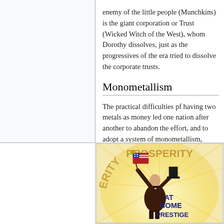enemy of the little people (Munchkins) is the giant corporation or Trust (Wicked Witch of the West), whom Dorothy dissolves, just as the progressives of the era tried to dissolve the corporate trusts.
Monometallism
The practical difficulties pf having two metals as money led one nation after another to abandon the effort, and to adopt a system of monometallism, using gold to back the currency.
[Figure (illustration): A political campaign poster showing a man in dark clothing holding an American flag aloft with one hand and a top hat with the other. The word 'PROSPERITY' arches across the top of the poster. In the bottom right, the text reads 'AT HOME PRESTIGE' in large dark blue letters. The background has a yellow radial sunburst effect.]